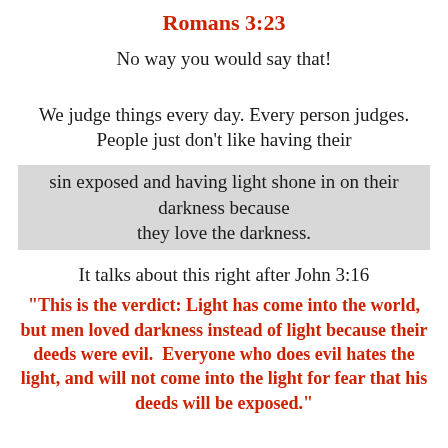Romans 3:23
No way you would say that!
We judge things every day. Every person judges. People just don't like having their
sin exposed and having light shone in on their darkness because they love the darkness.
It talks about this right after John 3:16
"This is the verdict: Light has come into the world, but men loved darkness instead of light because their deeds were evil.  Everyone who does evil hates the light, and will not come into the light for fear that his deeds will be exposed."
Things are happening SO FAST. The red carpet is being rolled out for the return of Christ.  Sometimes I mourn that I wasn't born into